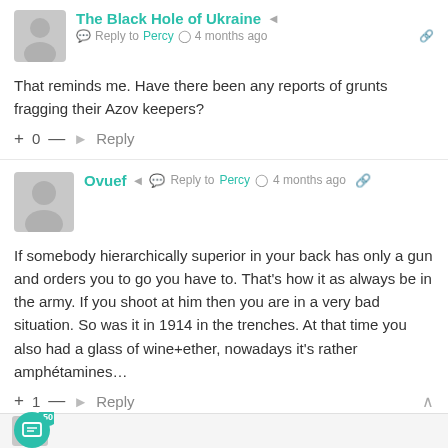[Figure (illustration): Gray placeholder avatar silhouette]
The Black Hole of Ukraine  ⋖  Reply to Percy  4 months ago
That reminds me. Have there been any reports of grunts fragging their Azov keepers?
+ 0 —  Reply
[Figure (illustration): Gray placeholder avatar silhouette large]
Ovuef ⋖  Reply to Percy  4 months ago
If somebody hierarchically superior in your back has only a gun and orders you to go you have to. That's how it as always be in the army. If you shoot at him then you are in a very bad situation. So was it in 1914 in the trenches. At that time you also had a glass of wine+ether, nowadays it's rather amphétamines…
+ 1 —  Reply
[Figure (illustration): Teal chat bubble button with 50 notification badge]